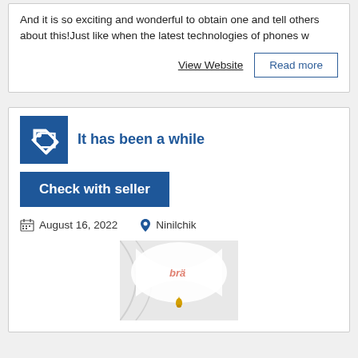And it is so exciting and wonderful to obtain one and tell others about this!Just like when the latest technologies of phones w
View Website
Read more
It has been a while
Check with seller
August 16, 2022
Ninilchik
[Figure (photo): Product image showing a white fabric/cloth with a brand label 'bra' and a golden liquid drop dripping from it]